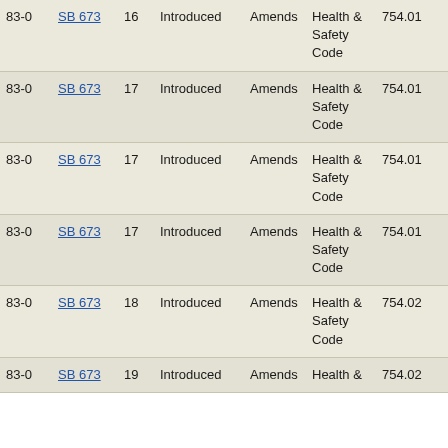| 83-0 | SB 673 | 16 | Introduced | Amends | Health & Safety Code | 754.01 |
| 83-0 | SB 673 | 17 | Introduced | Amends | Health & Safety Code | 754.01 |
| 83-0 | SB 673 | 17 | Introduced | Amends | Health & Safety Code | 754.01 |
| 83-0 | SB 673 | 17 | Introduced | Amends | Health & Safety Code | 754.01 |
| 83-0 | SB 673 | 18 | Introduced | Amends | Health & Safety Code | 754.02 |
| 83-0 | SB 673 | 19 | Introduced | Amends | Health & Safety Code | 754.02 |